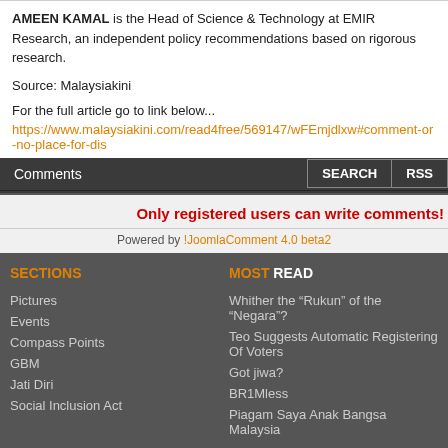AMEEN KAMAL is the Head of Science & Technology at EMIR Research, an independent policy recommendations based on rigorous research.
Source: Malaysiakini
For the full article go to link below...
https://www.malaysiakini.com/read4free/569147/wFEmjdlxw#comment-or-no-place-for-dis
Comments
Only registered users can write comments!
Powered by !JoomlaComment 4.0 beta2
SECTIONS
MOST READ
Pictures
Events
Compass Points
GBM
Jati Diri
Social Inclusion Act
Whither the “Rukun” of the “Negara”?
Teo Suggests Automatic Registering Of Voters
Got jiwa?
BR1Mless
Piagam Saya Anak Bangsa Malaysia
Terms and Conditions | Join GK eClub | Forum Support | Contact Us